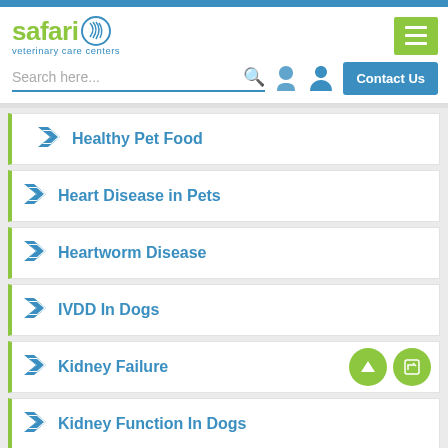[Figure (logo): Safari Veterinary Care Centers logo with green text and blue fingerprint/paw icon]
[Figure (screenshot): Green hamburger menu button with three white lines]
[Figure (screenshot): Search bar with phone icon, user icon, and Contact Us button]
Healthy Pet Food
Heart Disease in Pets
Heartworm Disease
IVDD In Dogs
Kidney Failure
Kidney Function In Dogs